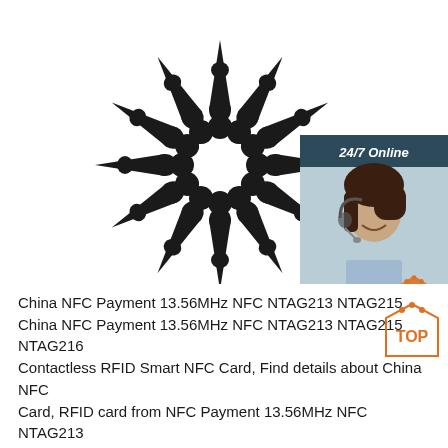[Figure (photo): Twelve black pointed needle/pin shaped objects arranged in a circular sunburst pattern on a white background, overlaid with a 24/7 online chat widget in the top-right corner featuring a customer service representative with a headset, a 'Click here for free chat!' message, and an orange QUOTATION button.]
China NFC Payment 13.56MHz NFC NTAG213 NTAG215 China NFC Payment 13.56MHz NFC NTAG213 NTAG215 NTAG216 Contactless RFID Smart NFC Card, Find details about China NFC Card, RFID card from NFC Payment 13.56MHz NFC NTAG213